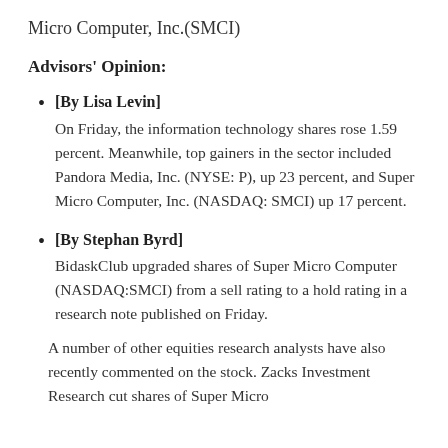Micro Computer, Inc.(SMCI)
Advisors' Opinion:
[By Lisa Levin] On Friday, the information technology shares rose 1.59 percent. Meanwhile, top gainers in the sector included Pandora Media, Inc. (NYSE: P), up 23 percent, and Super Micro Computer, Inc. (NASDAQ: SMCI) up 17 percent.
[By Stephan Byrd] BidaskClub upgraded shares of Super Micro Computer (NASDAQ:SMCI) from a sell rating to a hold rating in a research note published on Friday.
A number of other equities research analysts have also recently commented on the stock. Zacks Investment Research cut shares of Super Micro